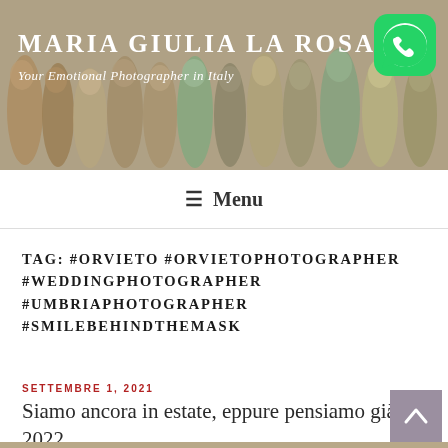[Figure (photo): Header banner with group of people celebrating outdoors, with overlay text 'MARIA GIULIA LA ROSA' and subtitle 'Your Emotional Photographer in Italy'. WhatsApp green icon in top right corner.]
≡ Menu
TAG: #ORVIETO #ORVIETOPHOTOGRAPHER #WEDDINGPHOTOGRAPHER #UMBRIAPHOTOGRAPHER #SMILEBEHINDTHEMASK
SETTEMBRE 1, 2021
Siamo ancora in estate, eppure pensiamo già al 2022
[Figure (photo): Partial view of an ornate stone building facade (likely Orvieto Cathedral) with blue sky in background.]